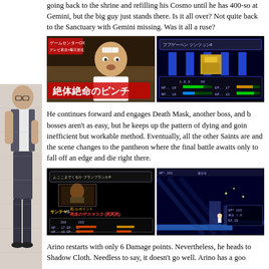going back to the shrine and refilling his Cosmo until he has 400-so at Gemini, but the big guy just stands there. Is it all over? Not quite back to the Sanctuary with Gemini missing. Was it all a ruse?
[Figure (screenshot): Two side-by-side screenshots: left shows a Japanese TV personality (Game Center CX / Arino) with text '絶体絶命のピンチ', right shows a retro RPG battle scene with status bars.]
He continues forward and engages Death Mask, another boss, and b bosses aren't as easy, but he keeps up the pattern of dying and goin inefficient but workable method. Eventually, all the other Saints are and the scene changes to the pantheon where the final battle awaits only to fall off an edge and die right there.
[Figure (screenshot): Two side-by-side screenshots: left shows a retro RPG battle screen vs 死生のデスマスク with HP/EXP stats, right shows a retro platformer level with a character near a ledge.]
Arino restarts with only 6 Damage points. Nevertheless, he heads to Shadow Cloth. Needless to say, it doesn't go well. Arino has a goo